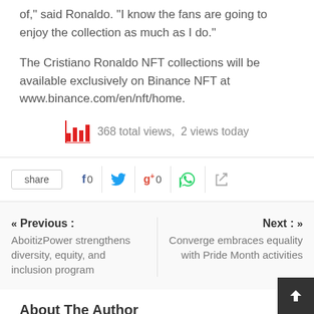of," said Ronaldo. "I know the fans are going to enjoy the collection as much as I do."
The Cristiano Ronaldo NFT collections will be available exclusively on Binance NFT at www.binance.com/en/nft/home.
[Figure (infographic): Bar chart icon with text: 368 total views, 2 views today]
share | f 0 | Twitter | g+ 0 | WhatsApp | Print
« Previous : AboitizPower strengthens diversity, equity, and inclusion program
Next : » Converge embraces equality with Pride Month activities
About The Author